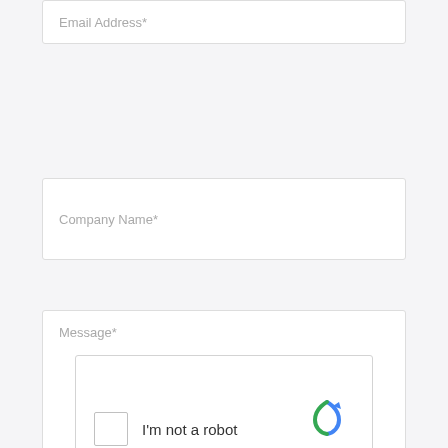Email Address*
Company Name*
Message*
[Figure (other): reCAPTCHA widget with checkbox labeled 'I'm not a robot' and reCAPTCHA logo with Privacy and Terms links]